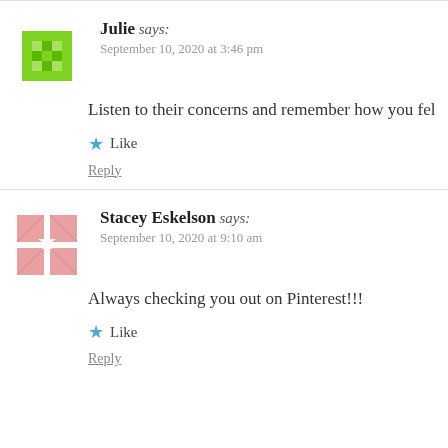Julie says: September 10, 2020 at 3:46 pm
Listen to their concerns and remember how you fel
Like
Reply
Stacey Eskelson says: September 10, 2020 at 9:10 am
Always checking you out on Pinterest!!!
Like
Reply